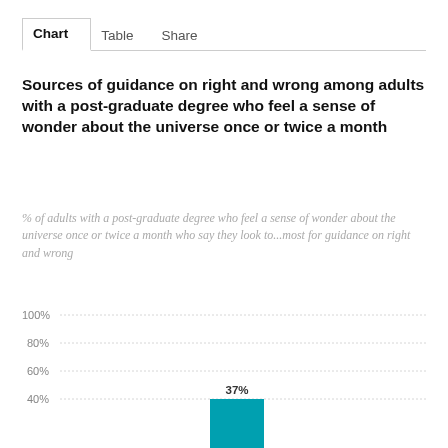Chart   Table   Share
Sources of guidance on right and wrong among adults with a post-graduate degree who feel a sense of wonder about the universe once or twice a month
% of adults with a post-graduate degree who feel a sense of wonder about the universe once or twice a month who say they look to...most for guidance on right and wrong
[Figure (bar-chart): Sources of guidance on right and wrong among adults with a post-graduate degree who feel a sense of wonder about the universe once or twice a month]